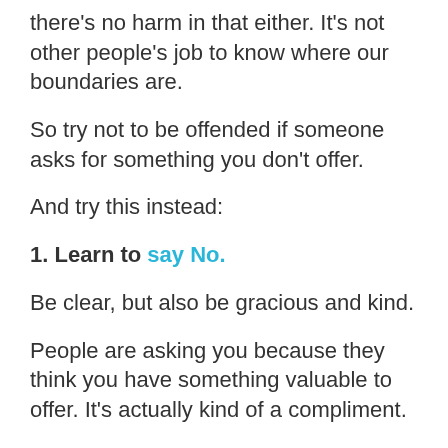there's no harm in that either. It's not other people's job to know where our boundaries are.
So try not to be offended if someone asks for something you don't offer.
And try this instead:
1. Learn to say No.
Be clear, but also be gracious and kind.
People are asking you because they think you have something valuable to offer. It's actually kind of a compliment.